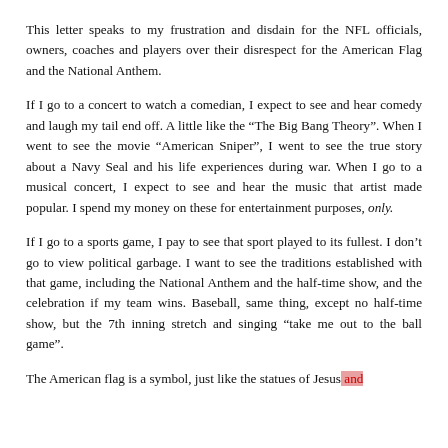This letter speaks to my frustration and disdain for the NFL officials, owners, coaches and players over their disrespect for the American Flag and the National Anthem.
If I go to a concert to watch a comedian, I expect to see and hear comedy and laugh my tail end off. A little like the “The Big Bang Theory”. When I went to see the movie “American Sniper”, I went to see the true story about a Navy Seal and his life experiences during war. When I go to a musical concert, I expect to see and hear the music that artist made popular. I spend my money on these for entertainment purposes, only.
If I go to a sports game, I pay to see that sport played to its fullest. I don’t go to view political garbage. I want to see the traditions established with that game, including the National Anthem and the half-time show, and the celebration if my team wins. Baseball, same thing, except no half-time show, but the 7th inning stretch and singing “take me out to the ball game”.
The American flag is a symbol, just like the statues of Jesus and